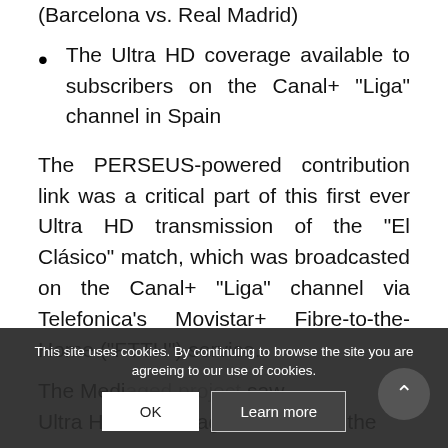The Ultra HD coverage available to subscribers on the Canal+ “Liga” channel in Spain
The PERSEUS-powered contribution link was a critical part of this first ever Ultra HD transmission of the “El Clásico” match, which was broadcasted on the Canal+ “Liga” channel via Telefonica’s Movistar+ Fibre-to-the-Home (“FTTH”) service.
The Medi[managed project] saw Ultra HD live footage encoded at the
This site uses cookies. By continuing to browse the site you are agreeing to our use of cookies.